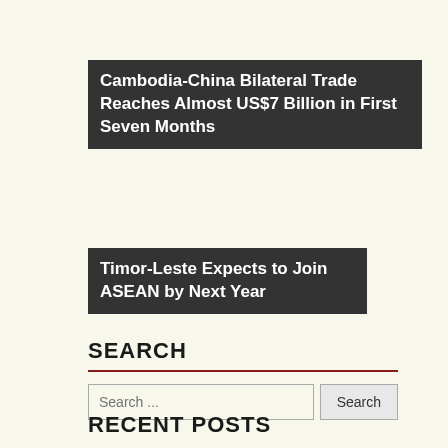Cambodia-China Bilateral Trade Reaches Almost US$7 Billion in First Seven Months
Timor-Leste Expects to Join ASEAN by Next Year
SEARCH
Search ...
RECENT POSTS